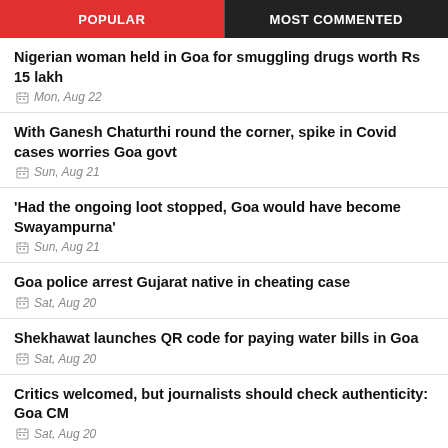POPULAR | MOST COMMENTED
Nigerian woman held in Goa for smuggling drugs worth Rs 15 lakh
Mon, Aug 22
With Ganesh Chaturthi round the corner, spike in Covid cases worries Goa govt
Sun, Aug 21
'Had the ongoing loot stopped, Goa would have become Swayampurna'
Sun, Aug 21
Goa police arrest Gujarat native in cheating case
Sat, Aug 20
Shekhawat launches QR code for paying water bills in Goa
Sat, Aug 20
Critics welcomed, but journalists should check authenticity: Goa CM
Sat, Aug 20
No need of 'missions', people have started accepting BJP: Goa CM
Fri, Aug 19
BJP will cross 400 seats in LS polls: C.T. Ravi